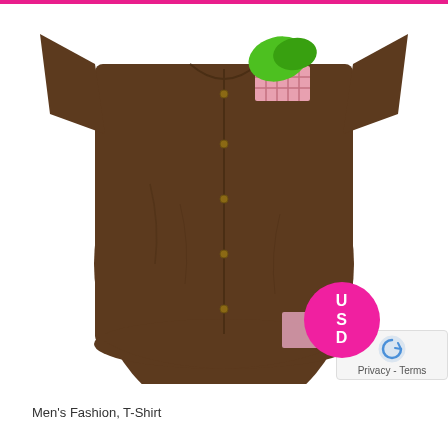[Figure (photo): Brown short-sleeve button-up men's shirt with green and pink patterned pocket decoration, displayed flat on white background. Shirt has snap/button closures down the front center.]
[Figure (infographic): Circular magenta/pink badge with white text reading 'U S D' arranged vertically]
[Figure (infographic): White box with 'Privacy - Terms' text and reCAPTCHA icon]
Men's Fashion, T-Shirt